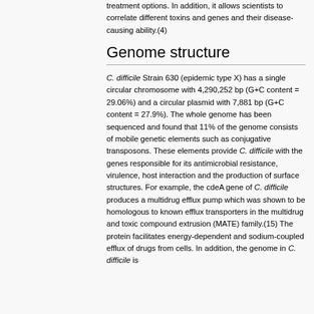treatment options. In addition, it allows scientists to correlate different toxins and genes and their disease-causing ability.(4)
Genome structure
C. difficile Strain 630 (epidemic type X) has a single circular chromosome with 4,290,252 bp (G+C content = 29.06%) and a circular plasmid with 7,881 bp (G+C content = 27.9%). The whole genome has been sequenced and found that 11% of the genome consists of mobile genetic elements such as conjugative transposons. These elements provide C. difficile with the genes responsible for its antimicrobial resistance, virulence, host interaction and the production of surface structures. For example, the cdeA gene of C. difficile produces a multidrug efflux pump which was shown to be homologous to known efflux transporters in the multidrug and toxic compound extrusion (MATE) family.(15) The protein facilitates energy-dependent and sodium-coupled efflux of drugs from cells. In addition, the genome in C. difficile is...